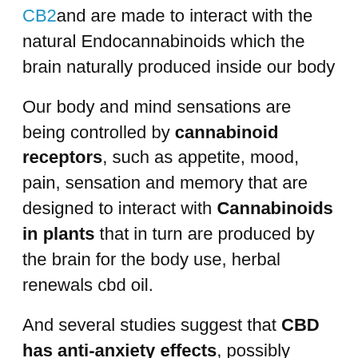CB2and are made to interact with the natural Endocannabinoids which the brain naturally produced inside our body
Our body and mind sensations are being controlled by cannabinoid receptors, such as appetite, mood, pain, sensation and memory that are designed to interact with Cannabinoids in plants that in turn are produced by the brain for the body use, herbal renewals cbd oil.
And several studies suggest that CBD has anti-anxiety effects, possibly because it alters the brain's response to the chemical serotonin. Also, many people report that CBD gummy bear